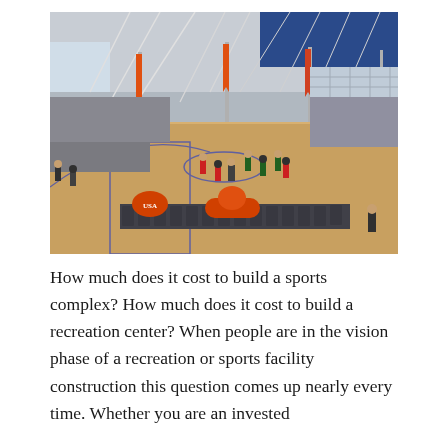[Figure (photo): Interior view of a large sports complex with multiple basketball courts. Players in red and green uniforms are playing on the main court. Spectators sit in chairs along the sidelines. Orange and red promotional banners hang from the ceiling. The facility has a large open ceiling with metal truss framework and blue accent walls.]
How much does it cost to build a sports complex? How much does it cost to build a recreation center? When people are in the vision phase of a recreation or sports facility construction this question comes up nearly every time. Whether you are an invested